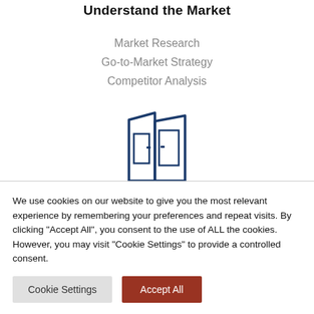Understand the Market
Market Research
Go-to-Market Strategy
Competitor Analysis
[Figure (illustration): Icon of an open door / building entrance with two door panels and a small handle, drawn in dark blue outline style.]
We use cookies on our website to give you the most relevant experience by remembering your preferences and repeat visits. By clicking “Accept All”, you consent to the use of ALL the cookies. However, you may visit "Cookie Settings" to provide a controlled consent.